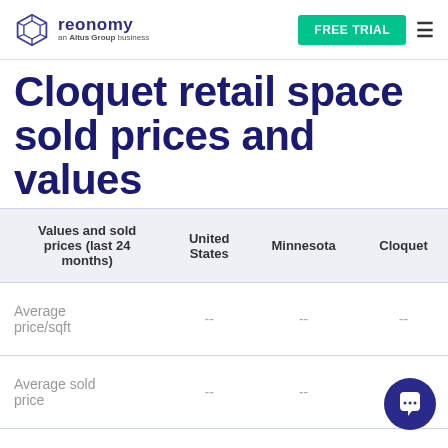reonomy an Altus Group business | FREE TRIAL
Cloquet retail space sold prices and values
| Values and sold prices (last 24 months) | United States | Minnesota | Cloquet |
| --- | --- | --- | --- |
| Average price/sqft | -- | -- | -- |
| Average sold price | -- | -- | -- |